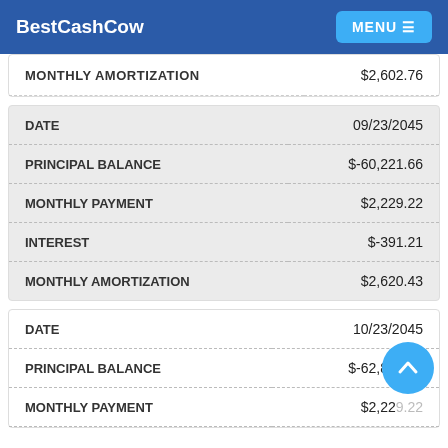BestCashCow  MENU
|  |  |
| --- | --- |
| MONTHLY AMORTIZATION | $2,602.76 |
|  |  |
| --- | --- |
| DATE | 09/23/2045 |
| PRINCIPAL BALANCE | $-60,221.66 |
| MONTHLY PAYMENT | $2,229.22 |
| INTEREST | $-391.21 |
| MONTHLY AMORTIZATION | $2,620.43 |
|  |  |
| --- | --- |
| DATE | 10/23/2045 |
| PRINCIPAL BALANCE | $-62,859.80 |
| MONTHLY PAYMENT | $2,229.22 |